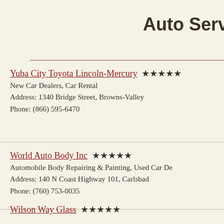Auto Serv
Yuba City Toyota Lincoln-Mercury ★★★★★
New Car Dealers, Car Rental
Address: 1340 Bridge Street, Browns-Valley
Phone: (866) 595-6470
World Auto Body Inc ★★★★★
Automobile Body Repairing & Painting, Used Car De...
Address: 140 N Coast Highway 101, Carlsbad
Phone: (760) 753-0035
Wilson Way Glass ★★★★★